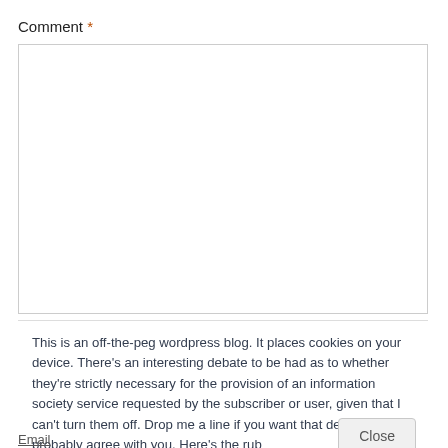Comment *
[Figure (screenshot): Empty comment textarea input box with a light grey border]
This is an off-the-peg wordpress blog. It places cookies on your device. There's an interesting debate to be had as to whether they're strictly necessary for the provision of an information society service requested by the subscriber or user, given that I can't turn them off. Drop me a line if you want that debate - I'll probably agree with you. Here's the rub
Close
Email